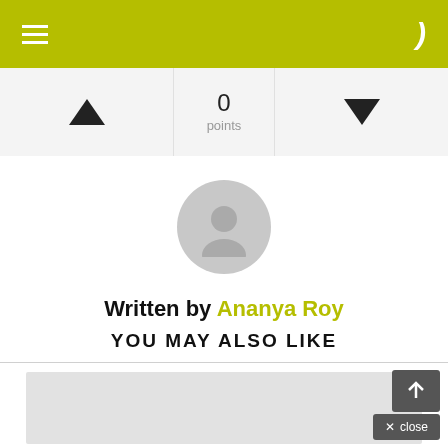Navigation bar with hamburger menu and moon icon
0 points
[Figure (illustration): Gray circular avatar/profile placeholder icon showing a silhouette of a person]
Written by Ananya Roy
YOU MAY ALSO LIKE
[Figure (photo): Gray placeholder image card for a related article]
close